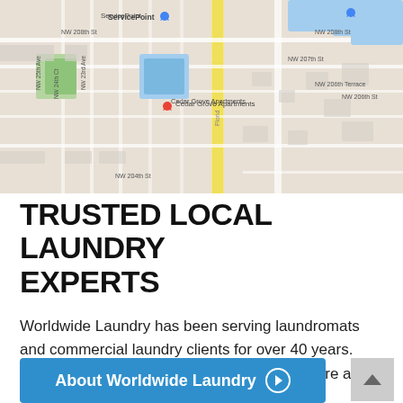[Figure (map): Google Maps view showing Miami Gardens area with streets including NW 208th St, NW 207th St, NW 206th St, NW 204th St, NW 15th Ave, NW 23rd Ave, NW 24th Ct, NW 25th Ave, Florida (road), ServicePoint, Cedar Grove Apartments, Hamlet At Walden Pond, Chabad of Miami Gardens]
TRUSTED LOCAL LAUNDRY EXPERTS
Worldwide Laundry has been serving laundromats and commercial laundry clients for over 40 years. More than just an equipment distributor, we are a full-service business offering everything from site planning and design to equipment sales, installation, maintenance, and more.
About Worldwide Laundry